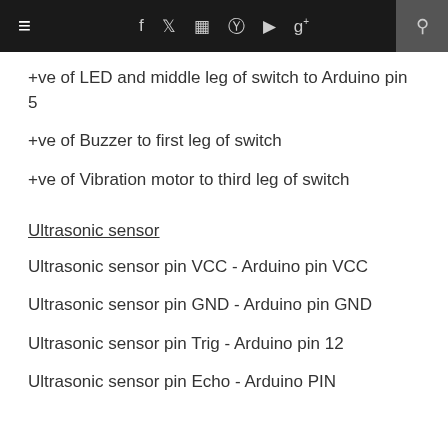≡  f  𝕥  ⊡  @  ▶  g+  🔍
+ve of LED and middle leg of switch to Arduino pin 5
+ve of Buzzer to first leg of switch
+ve of Vibration motor to third leg of switch
Ultrasonic sensor
Ultrasonic sensor pin VCC - Arduino pin VCC
Ultrasonic sensor pin GND - Arduino pin GND
Ultrasonic sensor pin Trig - Arduino pin 12
Ultrasonic sensor pin Echo - Arduino PIN